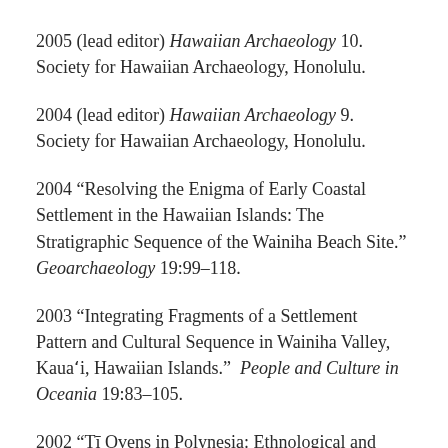2005 (lead editor) Hawaiian Archaeology 10. Society for Hawaiian Archaeology, Honolulu.
2004 (lead editor) Hawaiian Archaeology 9. Society for Hawaiian Archaeology, Honolulu.
2004 “Resolving the Enigma of Early Coastal Settlement in the Hawaiian Islands: The Stratigraphic Sequence of the Wainiha Beach Site.”  Geoarchaeology 19:99–118.
2003 “Integrating Fragments of a Settlement Pattern and Cultural Sequence in Wainiha Valley, Kaua‘i, Hawaiian Islands.”  People and Culture in Oceania 19:83–105.
2002 “Ti Ovens in Polynesia: Ethnological and…